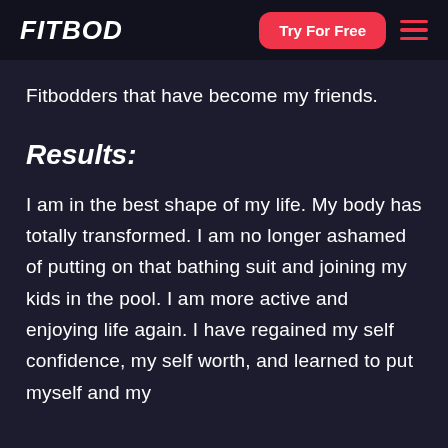FITBOD | Try For Free
Fitbodders that have become my friends.
Results:
I am in the best shape of my life. My body has totally transformed. I am no longer ashamed of putting on that bathing suit and joining my kids in the pool. I am more active and enjoying life again. I have regained my self confidence, my self worth, and learned to put myself and my